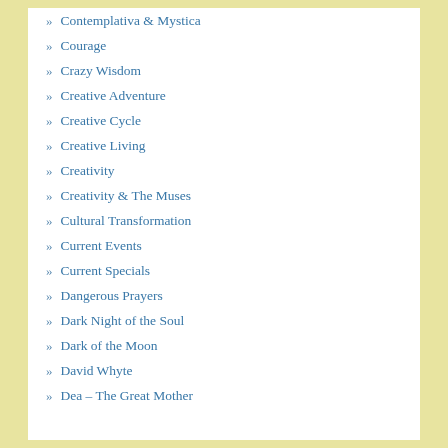Contemplativa & Mystica
Courage
Crazy Wisdom
Creative Adventure
Creative Cycle
Creative Living
Creativity
Creativity & The Muses
Cultural Transformation
Current Events
Current Specials
Dangerous Prayers
Dark Night of the Soul
Dark of the Moon
David Whyte
Dea – The Great Mother